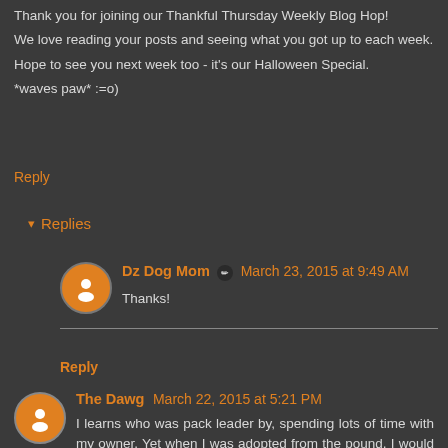Thank you for joining our Thankful Thursday Weekly Blog Hop!
We love reading your posts and seeing what you got up to each week.
Hope to see you next week too - it's our Halloween Special.
*waves paw* :=o)
Reply
▾ Replies
Dz Dog Mom ✏ March 23, 2015 at 9:49 AM
Thanks!
Reply
The Dawg  March 22, 2015 at 5:21 PM
I learns who was pack leader by, spending lots of time with my owner. Yet when I was adopted from the pound, I would challenge him daily. Then I would get treated like a puppy again. These lessons helped me for years to come in life.